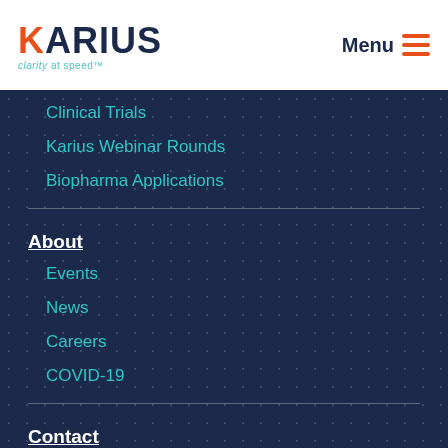KARIUS clarity at speed™
Clinical Trials
Karius Webinar Rounds
Biopharma Applications
About
Events
News
Careers
COVID-19
Contact
Order Test